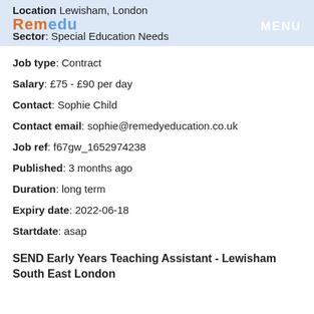Location Lewisham, London
Sector: Special Education Needs
Job type: Contract
Salary: £75 - £90 per day
Contact: Sophie Child
Contact email: sophie@remedyeducation.co.uk
Job ref: f67gw_1652974238
Published: 3 months ago
Duration: long term
Expiry date: 2022-06-18
Startdate: asap
SEND Early Years Teaching Assistant - Lewisham South East London